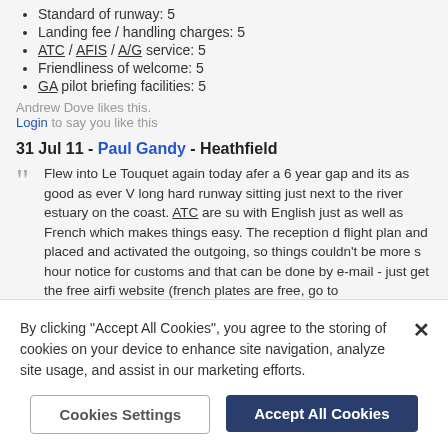Standard of runway: 5
Landing fee / handling charges: 5
ATC / AFIS / A/G service: 5
Friendliness of welcome: 5
GA pilot briefing facilities: 5
Andrew Dove likes this. Login to say you like this
31 Jul 11 - Paul Gandy - Heathfield
Flew into Le Touquet again today afer a 6 year gap and its as good as ever V long hard runway sitting just next to the river estuary on the coast. ATC are su with English just as well as French which makes things easy. The reception d flight plan and placed and activated the outgoing, so things couldn't be more s hour notice for customs and that can be done by e-mail - just get the free airfi website (french plates are free, go to www.sia.aviation-civile.gouv.fr/default_u mail and fax info. Landing fees for the Jabiru were good - 11 euros, not sure h for a 172 or PA28. We walked into the town and had lunch on the sea front - i there is bike hire available (or of course taxis). There is also a good restauran perfect airfield for anyone contemplating their first jaunt across the channel - h
By clicking “Accept All Cookies”, you agree to the storing of cookies on your device to enhance site navigation, analyze site usage, and assist in our marketing efforts.
Cookies Settings
Accept All Cookies